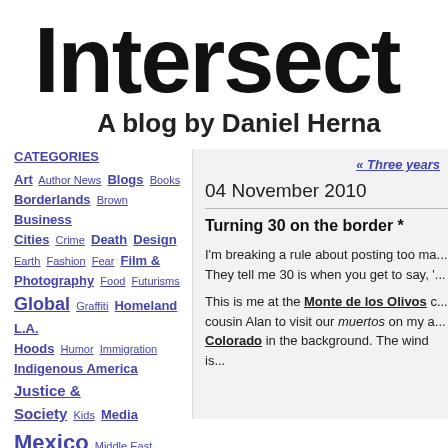Intersect
A blog by Daniel Herna
CATEGORIES
Art  Author News  Blogs  Books  Borderlands  Brown  Business  Cities  Crime  Death  Design  Earth  Fashion  Fear  Film & Photography  Food  Futurisms  Global  Graffiti  Homeland L.A.  Hoods  Humor  Immigration  Indigenous America  Justice & Society  Kids  Media  Mexico  Middle East  Music  People & Ideas  Pop  Sexualities  Spiritualities  Sports
« Three years
04 November 2010
Turning 30 on the border *
I'm breaking a rule about posting too ma... They tell me 30 is when you get to say, '...
This is me at the Monte de los Olivos c... cousin Alan to visit our muertos on my a... Colorado in the background. The wind is...